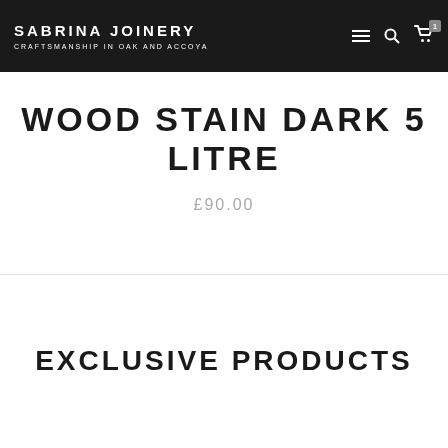SABRINA JOINERY — CRAFTSMANSHIP IN OAK AND ACCOYA
WOOD STAIN DARK 5 LITRE
£90.00
EXCLUSIVE PRODUCTS